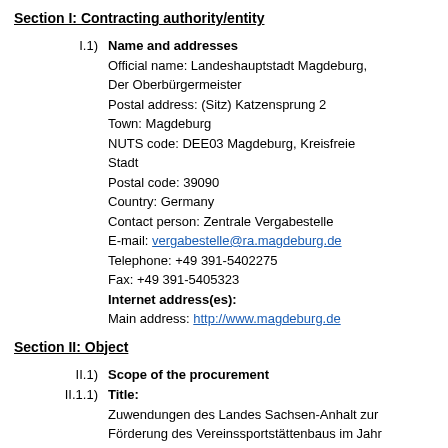Section I: Contracting authority/entity
I.1) Name and addresses
Official name: Landeshauptstadt Magdeburg, Der Oberbürgermeister
Postal address: (Sitz) Katzensprung 2
Town: Magdeburg
NUTS code: DEE03 Magdeburg, Kreisfreie Stadt
Postal code: 39090
Country: Germany
Contact person: Zentrale Vergabestelle
E-mail: vergabestelle@ra.magdeburg.de
Telephone: +49 391-5402275
Fax: +49 391-5405323
Internet address(es):
Main address: http://www.magdeburg.de
Section II: Object
II.1) Scope of the procurement
II.1.1) Title:
Zuwendungen des Landes Sachsen-Anhalt zur Förderung des Vereinssportstättenbaus im Jahr 2019, Neubau einer 3-Feld-Sporthalle,